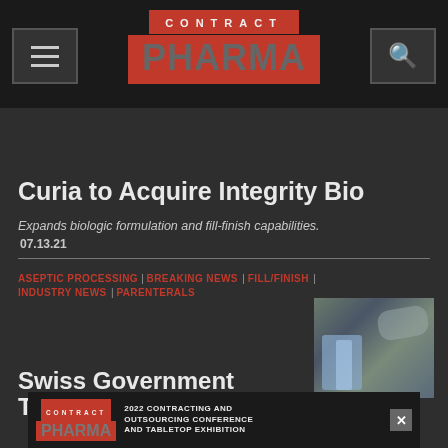CONTRACT PHARMA
[Figure (logo): Curia logo/search box in header area]
Curia to Acquire Integrity Bio
Expands biologic formulation and fill-finish capabilities.
07.13.21
ASEPTIC PROCESSING | BREAKING NEWS | FILL/FINISH | INDUSTRY NEWS | PARENTERALS
[Figure (photo): Pharmaceutical fill-finish manufacturing process photo]
Swiss Government Turns to
[Figure (screenshot): Contract Pharma 2022 Contracting and Outsourcing Conference and Tabletop Exhibition advertisement banner]